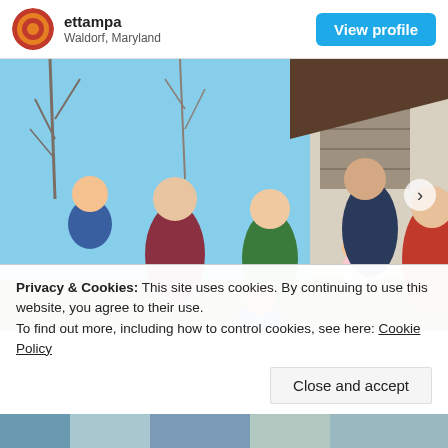ettampa
Waldorf, Maryland
[Figure (photo): Group photo of a family outdoors in front of a house. Six adults and two young children. One man in a plaid shirt holds a toddler boy. A woman in green stands in center. A man with sunglasses holds a baby in pink. A woman in red wears red sunglasses. A child is partially visible at the bottom. Blue sky and bare trees in background.]
Privacy & Cookies: This site uses cookies. By continuing to use this website, you agree to their use.
To find out more, including how to control cookies, see here: Cookie Policy
Close and accept